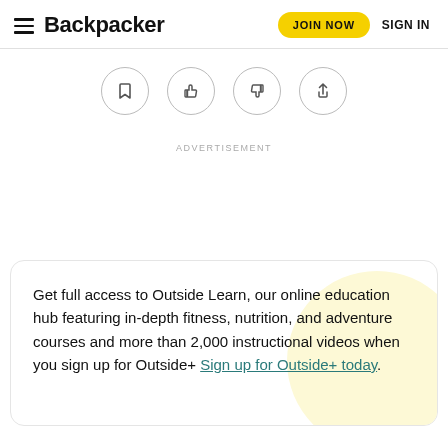Backpacker | JOIN NOW | SIGN IN
[Figure (other): Row of four icon buttons in circles: bookmark, thumbs up, thumbs down, share]
ADVERTISEMENT
Get full access to Outside Learn, our online education hub featuring in-depth fitness, nutrition, and adventure courses and more than 2,000 instructional videos when you sign up for Outside+ Sign up for Outside+ today.